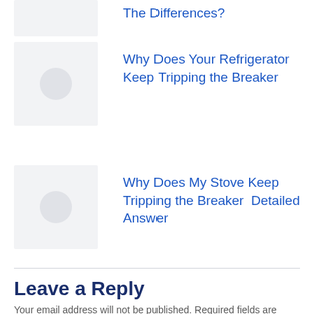[Figure (photo): Thumbnail image placeholder for article about differences]
The Differences?
[Figure (photo): Thumbnail image placeholder for refrigerator article]
Why Does Your Refrigerator Keep Tripping the Breaker
[Figure (photo): Thumbnail image placeholder for stove article]
Why Does My Stove Keep Tripping the Breaker  Detailed Answer
Leave a Reply
Your email address will not be published. Required fields are marked *